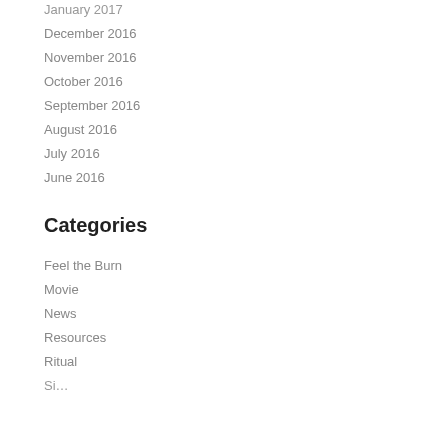January 2017
December 2016
November 2016
October 2016
September 2016
August 2016
July 2016
June 2016
Categories
Feel the Burn
Movie
News
Resources
Ritual
Si…